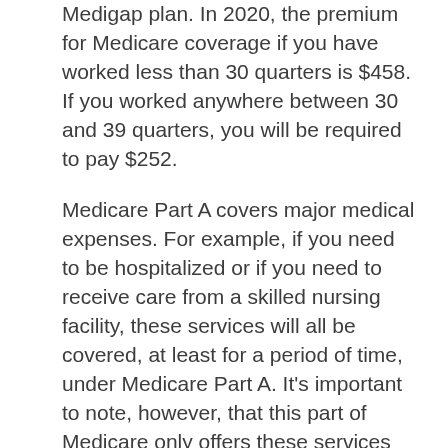Medigap plan. In 2020, the premium for Medicare coverage if you have worked less than 30 quarters is $458. If you worked anywhere between 30 and 39 quarters, you will be required to pay $252.
Medicare Part A covers major medical expenses. For example, if you need to be hospitalized or if you need to receive care from a skilled nursing facility, these services will all be covered, at least for a period of time, under Medicare Part A. It's important to note, however, that this part of Medicare only offers these services for a certain amount of days throughout the year. A recipient of Medicare Part A cannot expect for their stay at a skilled nursing facility to be covered through this insurance indefinitely.